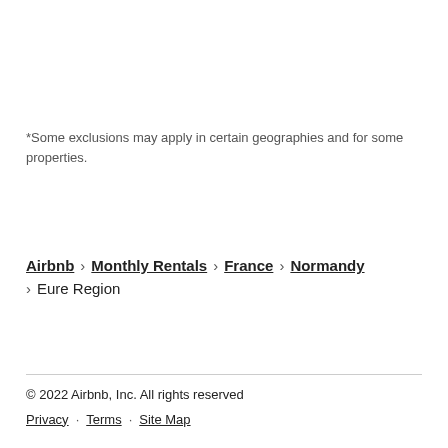*Some exclusions may apply in certain geographies and for some properties.
Airbnb › Monthly Rentals › France › Normandy › Eure Region
© 2022 Airbnb, Inc. All rights reserved
Privacy · Terms · Site Map